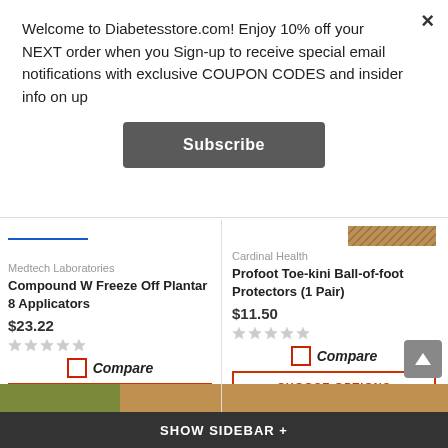Welcome to Diabetesstore.com! Enjoy 10% off your NEXT order when you Sign-up to receive special email notifications with exclusive COUPON CODES and insider info on up
Subscribe
Medtech Laboratories
Compound W Freeze Off Plantar 8 Applicators
$23.22
Cardinal Health
Profoot Toe-kini Ball-of-foot Protectors (1 Pair)
$11.50
Compare
CHOOSE OPTIONS
Compare
CHOOSE OPTIONS
SHOW SIDEBAR +